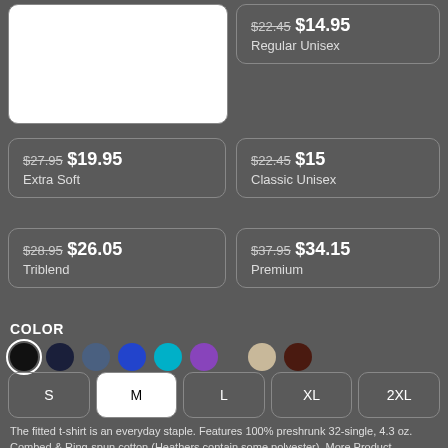[Figure (photo): White product image card (t-shirt placeholder)]
$22.45 $14.95
Regular Unisex
$27.95 $19.95
Extra Soft
$22.45 $15
Classic Unisex
$28.95 $26.05
Triblend
$37.95 $34.15
Premium
COLOR
[Figure (illustration): Color swatches: black (selected), navy, steel blue, royal blue, cyan, purple, gap, tan/beige, dark brown]
S  M  L  XL  2XL (size selector, M selected/active)
The fitted t-shirt is an everyday staple. Features 100% preshrunk 32-single, 4.3 oz. Combed & Ring-spun cotton (Heathers contain some polyester). More Product Information & Size Chart